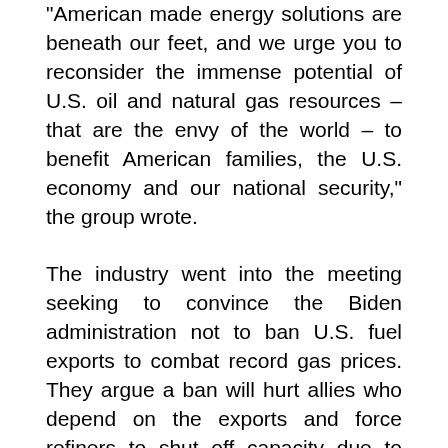“American made energy solutions are beneath our feet, and we urge you to reconsider the immense potential of U.S. oil and natural gas resources – that are the envy of the world – to benefit American families, the U.S. economy and our national security,” the group wrote.
The industry went into the meeting seeking to convince the Biden administration not to ban U.S. fuel exports to combat record gas prices. They argue a ban will hurt allies who depend on the exports and force refiners to shut off capacity due to loss of markets. Granholm all but took the option off the table as a short-term solution, the source said.
Biden, a Democrat, on Wednesday called on